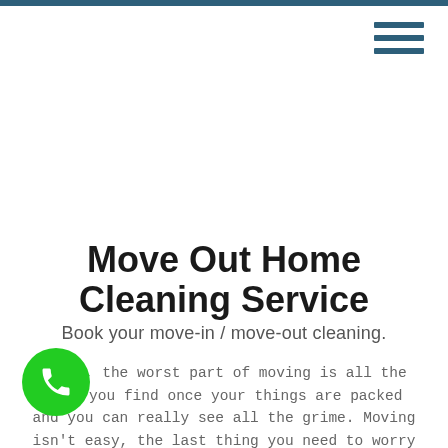Move Out Home Cleaning Service
Book your move-in / move-out cleaning.
Often, the worst part of moving is all the dirt you find once your things are packed and you can really see all the grime. Moving isn't easy, the last thing you need to worry about is getting the new home cleaned. Leave it to the cleaning professionals to take care of the move-in / move-out cleaning for you.
[Figure (illustration): Green circular phone/call button in bottom left corner]